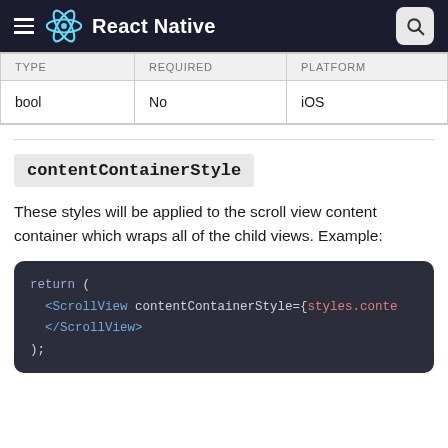React Native
| TYPE | REQUIRED | PLATFORM |
| --- | --- | --- |
| bool | No | iOS |
contentContainerStyle
These styles will be applied to the scroll view content container which wraps all of the child views. Example:
[Figure (screenshot): Code block showing: return (
  <ScrollView contentContainerStyle={styles.conte
  </ScrollView>
);]